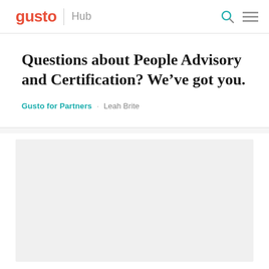gusto | Hub
Questions about People Advisory and Certification? We’ve got you.
Gusto for Partners · Leah Brite
[Figure (photo): White/blank image placeholder area below the article title card]